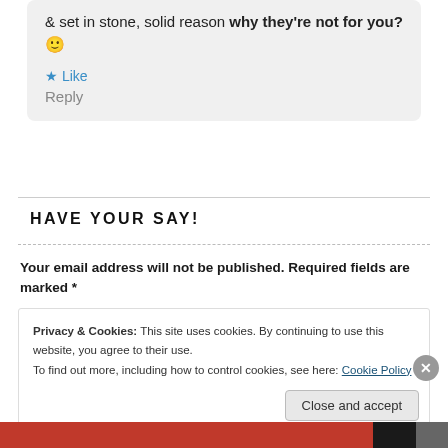& set in stone, solid reason why they're not for you? 🙂
★ Like
Reply
HAVE YOUR SAY!
Your email address will not be published. Required fields are marked *
Privacy & Cookies: This site uses cookies. By continuing to use this website, you agree to their use.
To find out more, including how to control cookies, see here: Cookie Policy
Close and accept